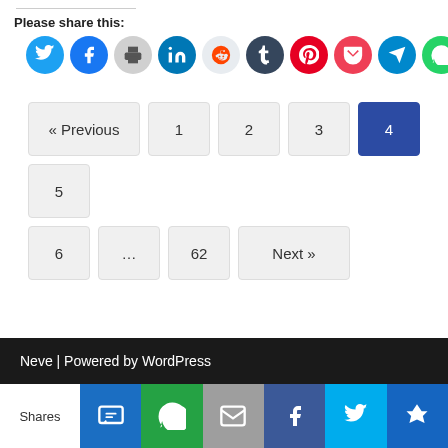Please share this:
[Figure (infographic): Row of 10 social sharing icon circles: Twitter (blue), Facebook (blue), Print (gray), LinkedIn (teal-blue), Reddit (light gray), Tumblr (dark navy), Pinterest (red), Pocket (red), Telegram (blue), WhatsApp (green)]
[Figure (infographic): Pagination navigation: « Previous, 1, 2, 3, 4 (active/highlighted in blue), 5 on first row; 6, ..., 62, Next » on second row]
Neve | Powered by WordPress
[Figure (infographic): Bottom share bar with: Shares label, SMS icon (blue), WhatsApp icon (green), Email icon (gray), Facebook icon (blue), Twitter icon (light blue), More/crown icon (dark blue)]